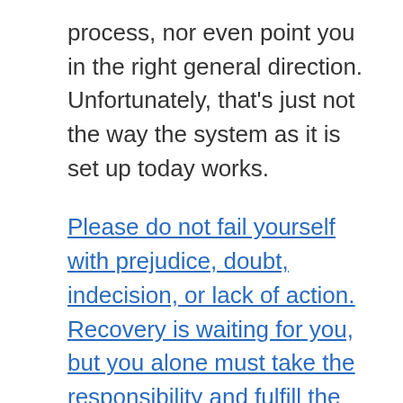process, nor even point you in the right general direction. Unfortunately, that's just not the way the system as it is set up today works.
Please do not fail yourself with prejudice, doubt, indecision, or lack of action. Recovery is waiting for you, but you alone must take the responsibility and fulfill the simple, easy to learn steps which lead to dramatic improvement of this frustrating condition.
For more information on how you can began taking charge of your neuropathy condition as soon as today, I invite you to review the special, highly effective resolution program I created uniquely for peripheral neuropathy sufferers. You can Click